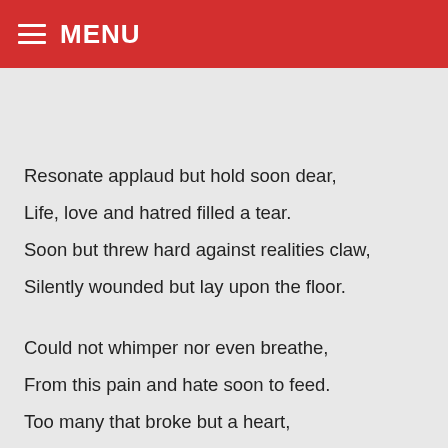MENU
Resonate applaud but hold soon dear,
Life, love and hatred filled a tear.
Soon but threw hard against realities claw,
Silently wounded but lay upon the floor.

Could not whimper nor even breathe,
From this pain and hate soon to feed.
Too many that broke but a heart,
Shattered against stone with each cut.

Nothing in life could therefore prevail,
Sick and tired as they unmask the veil.